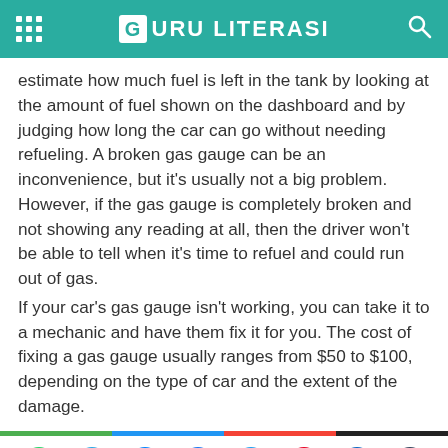GURU LITERASI
estimate how much fuel is left in the tank by looking at the amount of fuel shown on the dashboard and by judging how long the car can go without needing refueling. A broken gas gauge can be an inconvenience, but it's usually not a big problem. However, if the gas gauge is completely broken and not showing any reading at all, then the driver won't be able to tell when it's time to refuel and could run out of gas.
If your car's gas gauge isn't working, you can take it to a mechanic and have them fix it for you. The cost of fixing a gas gauge usually ranges from $50 to $100, depending on the type of car and the extent of the damage.
Social share icons: WhatsApp, Telegram, Messenger, Facebook, Twitter, Pinterest, LinkedIn, Tumblr